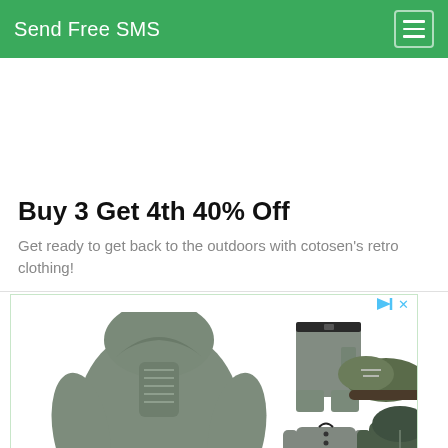Send Free SMS
Buy 3 Get 4th 40% Off
Get ready to get back to the outdoors with cotosen's retro clothing!
[Figure (photo): Advertisement showing outdoor/military style clothing: a grey hooded pullover with lace front, grey cargo shorts, green hiking shoes, a grey polo shirt, and a grey zippered hoodie. Small blue play-button icon and X indicating ad controls in top right.]